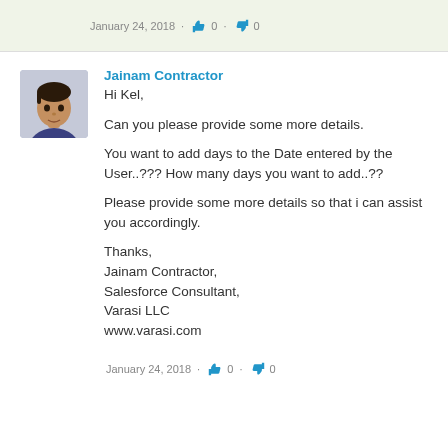January 24, 2018 · 👍 0 · 👎 0
Jainam Contractor
Hi Kel,

Can you please provide some more details.

You want to add days to the Date entered by the User..??? How many days you want to add..??

Please provide some more details so that i can assist you accordingly.

Thanks,
Jainam Contractor,
Salesforce Consultant,
Varasi LLC
www.varasi.com
January 24, 2018 · 👍 0 · 👎 0